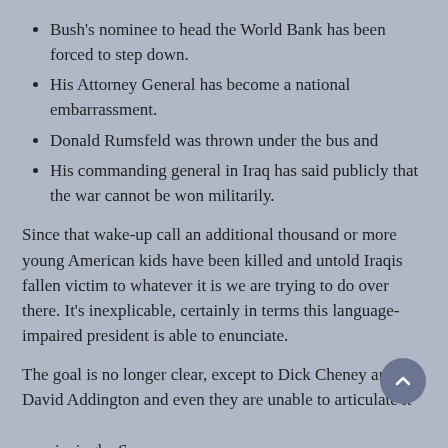Bush's nominee to head the World Bank has been forced to step down.
His Attorney General has become a national embarrassment.
Donald Rumsfeld was thrown under the bus and
His commanding general in Iraq has said publicly that the war cannot be won militarily.
Since that wake-up call an additional thousand or more young American kids have been killed and untold Iraqis fallen victim to whatever it is we are trying to do over there. It's inexplicable, certainly in terms this language-impaired president is able to enunciate.
The goal is no longer clear, except to Dick Cheney and David Addington and even they are unable to articulate it convincingly. So the rhetoric, unmoored over Iraq, drifts to Iran.